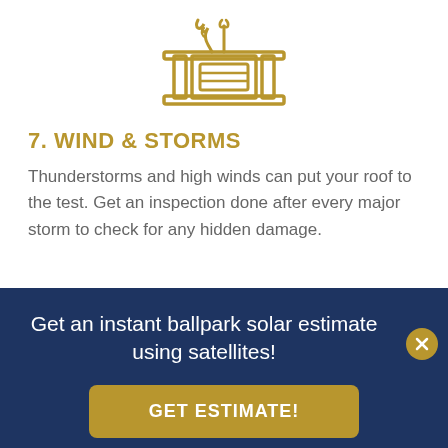[Figure (illustration): Gold line-art icon of a building/house with decorative elements, centered at top of page]
7. WIND & STORMS
Thunderstorms and high winds can put your roof to the test. Get an inspection done after every major storm to check for any hidden damage.
Get an instant ballpark solar estimate using satellites!
GET ESTIMATE!